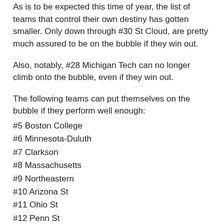As is to be expected this time of year, the list of teams that control their own destiny has gotten smaller. Only down through #30 St Cloud, are pretty much assured to be on the bubble if they win out.
Also, notably, #28 Michigan Tech can no longer climb onto the bubble, even if they win out.
The following teams can put themselves on the bubble if they perform well enough:
#5 Boston College
#6 Minnesota-Duluth
#7 Clarkson
#8 Massachusetts
#9 Northeastern
#10 Arizona St
#11 Ohio St
#12 Penn St
#13 Providence